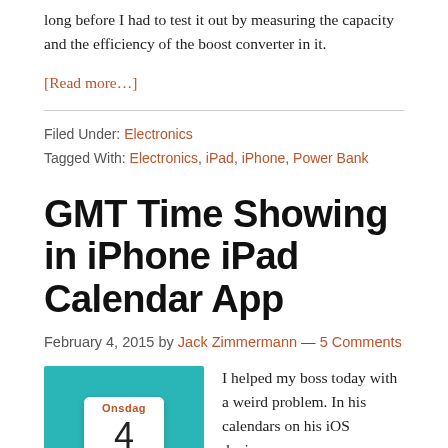long before I had to test it out by measuring the capacity and the efficiency of the boost converter in it.
[Read more…]
Filed Under: Electronics
Tagged With: Electronics, iPad, iPhone, Power Bank
GMT Time Showing in iPhone iPad Calendar App
February 4, 2015 by Jack Zimmermann — 5 Comments
[Figure (photo): Calendar app icon showing Onsdag and the number 4 on a teal background]
I helped my boss today with a weird problem. In his calendars on his iOS devices,